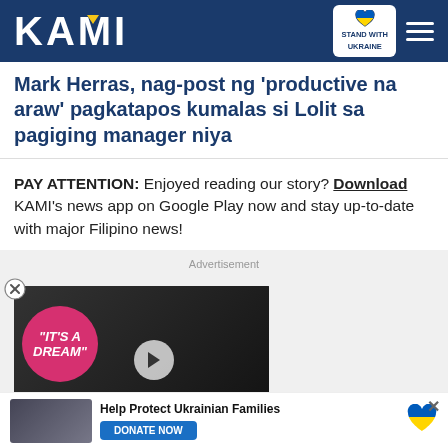KAMI
Mark Herras, nag-post ng 'productive na araw' pagkatapos kumalas si Lolit sa pagiging manager niya
PAY ATTENTION: Enjoyed reading our story? Download KAMI's news app on Google Play now and stay up-to-date with major Filipino news!
Advertisement
[Figure (screenshot): Video advertisement thumbnail showing a couple with text 'IT'S A DREAM' on a pink circle badge, with play button overlay and red collapse arrow button at bottom right]
[Figure (infographic): Bottom banner ad: Help Protect Ukrainian Families with DONATE NOW button and Ukraine heart icon]